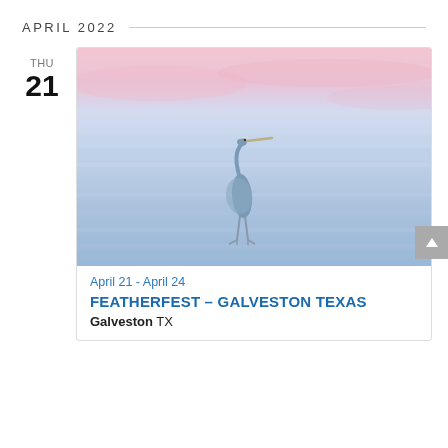APRIL 2022
THU
21
[Figure (photo): A great blue heron standing in shallow coastal water with soft pastel pink and lavender sky at dusk, long-exposure photograph with silky smooth water.]
April 21 - April 24
FEATHERFEST – GALVESTON TEXAS
Galveston TX